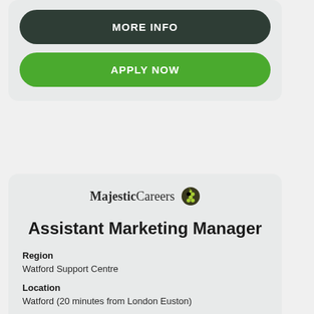MORE INFO
APPLY NOW
[Figure (logo): Majestic Careers logo with grape icon]
Assistant Marketing Manager
Region
Watford Support Centre
Location
Watford (20 minutes from London Euston)